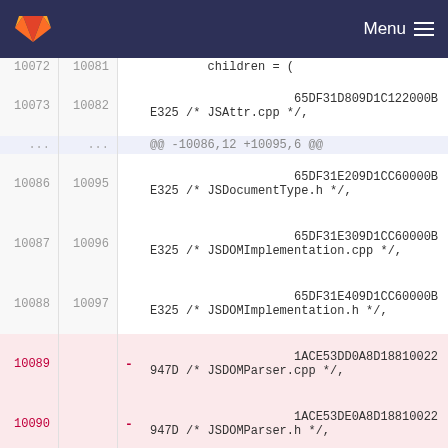GitLab navigation bar with Menu
[Figure (screenshot): GitLab diff view showing code lines 10072-10090 with line numbers, a hunk header, normal and deleted lines containing file references in Xcode project format]
10072 10081 children = (
10073 10082
... ... @@ -10086,12 +10095,6 @@
10086 10095 65DF31E209D1CC60000BE325 /* JSDocumentType.h */,
10087 10096 65DF31E309D1CC60000BE325 /* JSDOMImplementation.cpp */,
10088 10097 65DF31E409D1CC60000BE325 /* JSDOMImplementation.h */,
10089 - 1ACE53DD0A8D18810022947D /* JSDOMParser.cpp */,
10090 - 1ACE53DE0A8D18810022947D /* JSDOMParser.h */,